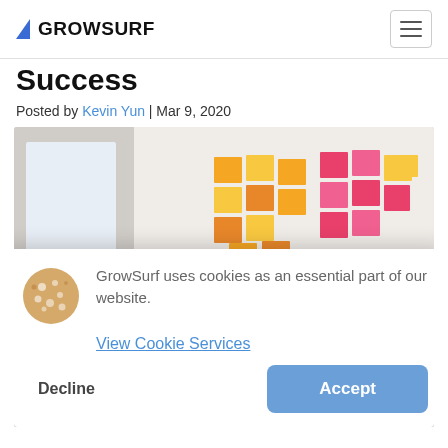GROWSURF
Success
Posted by Kevin Yun | Mar 9, 2020
[Figure (photo): People in a workshop or meeting, with a woman pointing to colorful sticky notes arranged in patterns on a white wall]
GrowSurf uses cookies as an essential part of our website. View Cookie Services
Decline
Accept